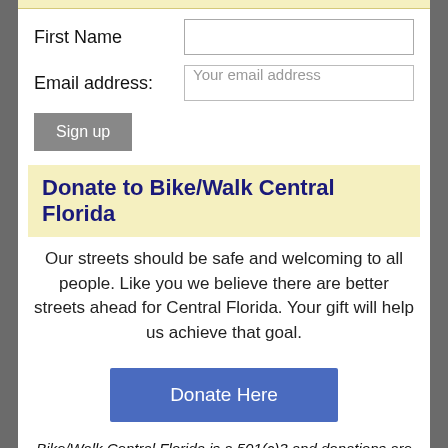First Name
Email address: Your email address
Sign up
Donate to Bike/Walk Central Florida
Our streets should be safe and welcoming to all people. Like you we believe there are better streets ahead for Central Florida. Your gift will help us achieve that goal.
Donate Here
Bike/Walk Central Florida is a 501(c)3 and donations are tax deductible as allowed by law.